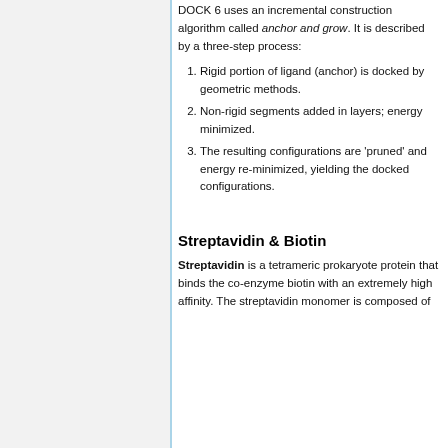DOCK 6 uses an incremental construction algorithm called anchor and grow. It is described by a three-step process:
Rigid portion of ligand (anchor) is docked by geometric methods.
Non-rigid segments added in layers; energy minimized.
The resulting configurations are 'pruned' and energy re-minimized, yielding the docked configurations.
Streptavidin & Biotin
Streptavidin is a tetrameric prokaryote protein that binds the co-enzyme biotin with an extremely high affinity. The streptavidin monomer is composed of